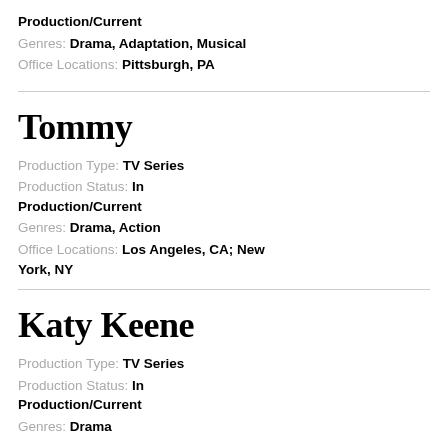Production Status: In Production/Current
Genres: Drama, Adaptation, Musical
Office Locations: Pittsburgh, PA
Tommy
Production Type: TV Series
Production Status: In Production/Current
Genres: Drama, Action
Office Locations: Los Angeles, CA; New York, NY
Katy Keene
Production Type: TV Series
Production Status: In Production/Current
Genres: Drama